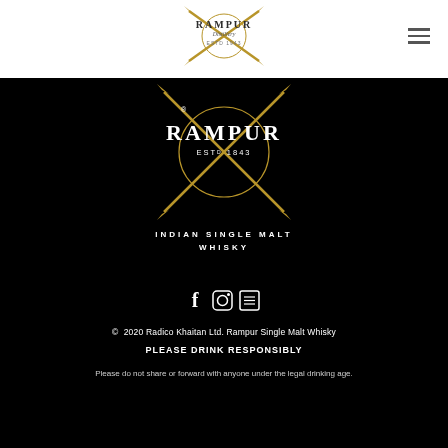[Figure (logo): Rampur Distillery logo with crossed swords, ESTD 1943, shown in the white top navigation bar]
[Figure (logo): Rampur Indian Single Malt Whisky logo on black background — large text RAMPUR ESTD 1843 with crossed swords and text INDIAN SINGLE MALT WHISKY]
[Figure (other): Social media icons: Facebook, Instagram, and a grid/news icon on black background]
© 2020 Radico Khaitan Ltd. Rampur Single Malt Whisky
PLEASE DRINK RESPONSIBLY
Please do not share or forward with anyone under the legal drinking age.